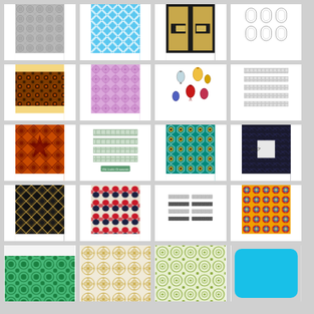[Figure (illustration): Grid of 20 Islamic/Arabic decorative pattern images arranged in 5 rows of 4 columns, including geometric tile patterns, border ornaments, lantern illustrations, and arabesque designs in various color schemes.]